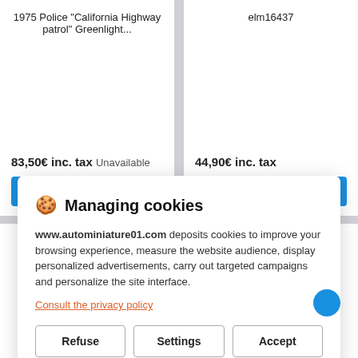1975 Police "California Highway patrol" Greenlight...
83,50€ inc. tax Unavailable
Details
elm16437
44,90€ inc. tax
Details
🍪 Managing cookies
www.autominiature01.com deposits cookies to improve your browsing experience, measure the website audience, display personalized advertisements, carry out targeted campaigns and personalize the site interface.
Consult the privacy policy
Refuse
Settings
Accept
Caprice Police patrouille
Benz unimog 406 maintien de